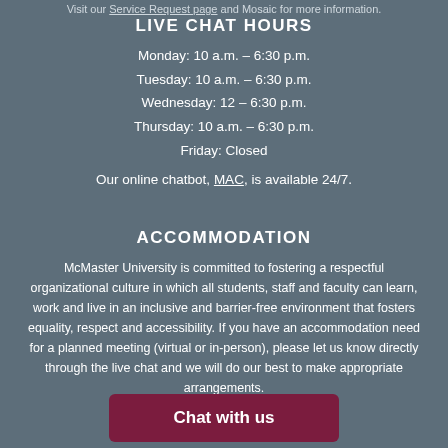Visit our Service Request page and Mosaic for more information.
LIVE CHAT HOURS
Monday: 10 a.m. – 6:30 p.m.
Tuesday: 10 a.m. – 6:30 p.m.
Wednesday: 12 – 6:30 p.m.
Thursday: 10 a.m. – 6:30 p.m.
Friday: Closed
Our online chatbot, MAC, is available 24/7.
ACCOMMODATION
McMaster University is committed to fostering a respectful organizational culture in which all students, staff and faculty can learn, work and live in an inclusive and barrier-free environment that fosters equality, respect and accessibility. If you have an accommodation need for a planned meeting (virtual or in-person), please let us know directly through the live chat and we will do our best to make appropriate arrangements.
Chat with us